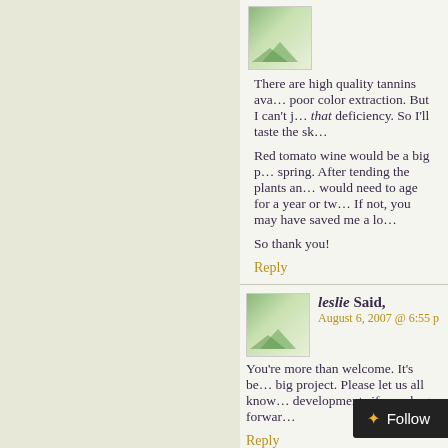There are high quality tannins ava... poor color extraction. But I can't j... that deficiency. So I'll taste the sk...
Red tomato wine would be a big p... spring. After tending the plants an... would need to age for a year or tw... If not, you may have saved me a lo...
So thank you!
Reply
[Figure (photo): Comment avatar image for leslie]
leslie Said, August 6, 2007 @ 6:55 p...
You're more than welcome. It's be... big project. Please let us all know... developments if you do go forwar...
Reply
[Figure (photo): Comment avatar image for Graham]
Graham Said, August... 03...